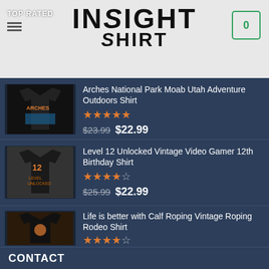[Figure (logo): Insight Shirt logo with hamburger menu and cart icon. Header shows TOP RATED text, INSIGHT SHIRT logo, and shopping cart with 0 items.]
Arches National Park Moab Utah Adventure Outdoors Shirt — rated 4.5 stars — $23.99 $22.99
Level 12 Unlocked Vintage Video Gamer 12th Birthday Shirt — rated 4.5 stars — $25.99 $22.99
Life is better with Calf Roping Vintage Roping Rodeo Shirt — rated 4.5 stars — $26.99 $22.99
CONTACT